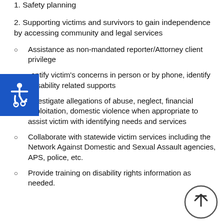1. Safety planning
2. Supporting victims and survivors to gain independence by accessing community and legal services
Assistance as non-mandated reporter/Attorney client privilege
Identify victim's concerns in person or by phone, identify disability related supports
Investigate allegations of abuse, neglect, financial exploitation, domestic violence when appropriate to assist victim with identifying needs and services
Collaborate with statewide victim services including the Network Against Domestic and Sexual Assault agencies, APS, police, etc.
Provide training on disability rights information as needed.